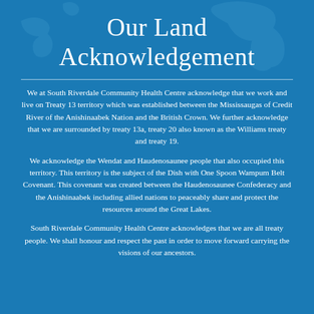Our Land Acknowledgement
We at South Riverdale Community Health Centre acknowledge that we work and live on Treaty 13 territory which was established between the Mississaugas of Credit River of the Anishinaabek Nation and the British Crown. We further acknowledge that we are surrounded by treaty 13a, treaty 20 also known as the Williams treaty and treaty 19.
We acknowledge the Wendat and Haudenosaunee people that also occupied this territory. This territory is the subject of the Dish with One Spoon Wampum Belt Covenant. This covenant was created between the Haudenosaunee Confederacy and the Anishinaabek including allied nations to peaceably share and protect the resources around the Great Lakes.
South Riverdale Community Health Centre acknowledges that we are all treaty people. We shall honour and respect the past in order to move forward carrying the visions of our ancestors.